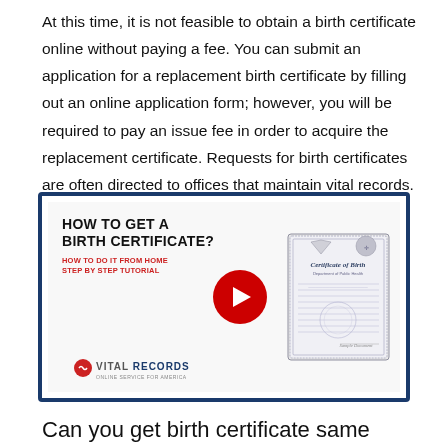At this time, it is not feasible to obtain a birth certificate online without paying a fee. You can submit an application for a replacement birth certificate by filling out an online application form; however, you will be required to pay an issue fee in order to acquire the replacement certificate. Requests for birth certificates are often directed to offices that maintain vital records.
[Figure (screenshot): YouTube-style video thumbnail for 'How to Get a Birth Certificate? How to do it from Home Step by Step Tutorial' by Vital Records, showing a birth certificate sample document on the right side and a red play button in the center.]
Can you get birth certificate same